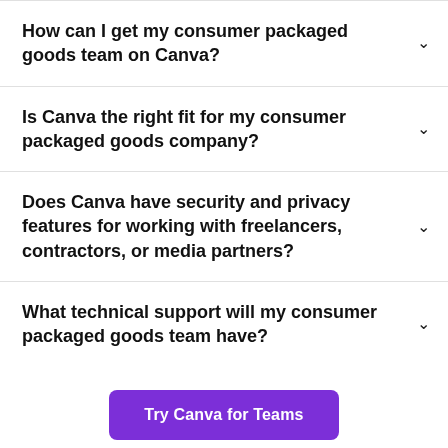How can I get my consumer packaged goods team on Canva?
Is Canva the right fit for my consumer packaged goods company?
Does Canva have security and privacy features for working with freelancers, contractors, or media partners?
What technical support will my consumer packaged goods team have?
Try Canva for Teams